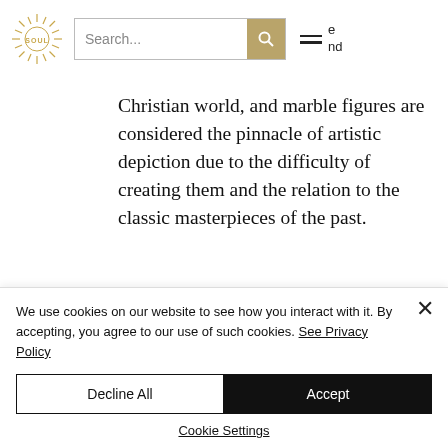[Figure (logo): Soul brand logo: sunburst/starburst design with 'SOUL' text in center, gold/tan color scheme]
Search...
Christian world, and marble figures are considered the pinnacle of artistic depiction due to the difficulty of creating them and the relation to the classic masterpieces of the past.
Measurements
We use cookies on our website to see how you interact with it. By accepting, you agree to our use of such cookies. See Privacy Policy
Decline All
Accept
Cookie Settings